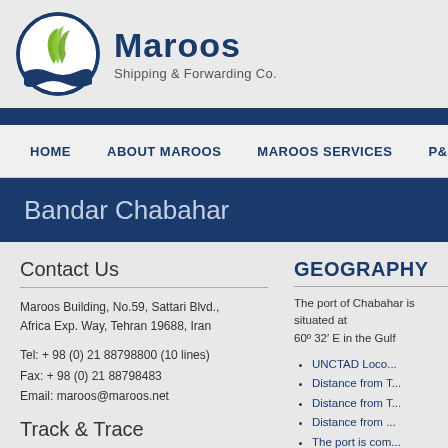[Figure (logo): Maroos Shipping & Forwarding Co. circular logo with green sail/wave design in blue circle]
Maroos Shipping & Forwarding Co.
HOME   ABOUT MAROOS   MAROOS SERVICES   P&I CORR.   NEWS
Bandar Chabahar
Contact Us
Maroos Building, No.59, Sattari Blvd., Africa Exp. Way, Tehran 19688, Iran
Tel: + 98 (0) 21 88798800 (10 lines)
Fax: + 98 (0) 21 88798483
Email: maroos@maroos.net
Track & Trace
GEOGRAPHY
The port of Chabahar is situated at 60° 32′ E in the Gulf
UNCTAD Loco...
Distance from T...
Distance from T...
Distance from ...
The port is com...
The temperatu...